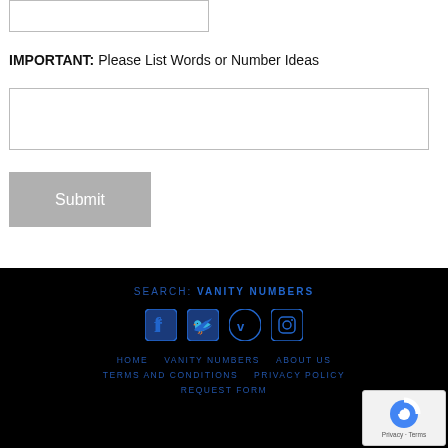IMPORTANT: Please List Words or Number Ideas
Submit
SEARCH: VANITY NUMBERS  HOME  VANITY NUMBERS  ABOUT US  TERMS AND CONDITIONS  PRIVACY POLICY  REQUEST FORM